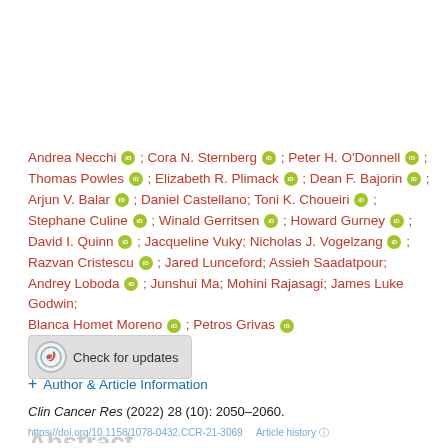Andrea Necchi ; Cora N. Sternberg ; Peter H. O'Donnell ; Thomas Powles ; Elizabeth R. Plimack ; Dean F. Bajorin ; Arjun V. Balar ; Daniel Castellano; Toni K. Choueiri ; Stephane Culine ; Winald Gerritsen ; Howard Gurney ; David I. Quinn ; Jacqueline Vuky; Nicholas J. Vogelzang ; Razvan Cristescu ; Jared Lunceford; Assieh Saadatpour; Andrey Loboda ; Junshui Ma; Mohini Rajasagi; James Luke Godwin; Blanca Homet Moreno ; Petros Grivas
[Figure (other): Check for updates button with CrossMark logo]
+ Author & Article Information
Clin Cancer Res (2022) 28 (10): 2050–2060.
https://doi.org/10.1158/1078-0432.CCR-21-3069    Article history
This site uses cookies. By continuing to use our website, you are agreeing to our privacy policy. Accept